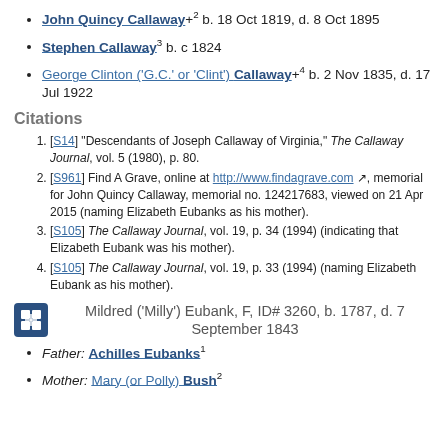John Quincy Callaway+2 b. 18 Oct 1819, d. 8 Oct 1895
Stephen Callaway3 b. c 1824
George Clinton ('G.C.' or 'Clint') Callaway+4 b. 2 Nov 1835, d. 17 Jul 1922
Citations
[S14] "Descendants of Joseph Callaway of Virginia," The Callaway Journal, vol. 5 (1980), p. 80.
[S961] Find A Grave, online at http://www.findagrave.com, memorial for John Quincy Callaway, memorial no. 124217683, viewed on 21 Apr 2015 (naming Elizabeth Eubanks as his mother).
[S105] The Callaway Journal, vol. 19, p. 34 (1994) (indicating that Elizabeth Eubank was his mother).
[S105] The Callaway Journal, vol. 19, p. 33 (1994) (naming Elizabeth Eubank as his mother).
Mildred ('Milly') Eubank, F, ID# 3260, b. 1787, d. 7 September 1843
Father: Achilles Eubanks1
Mother: Mary (or Polly) Bush2